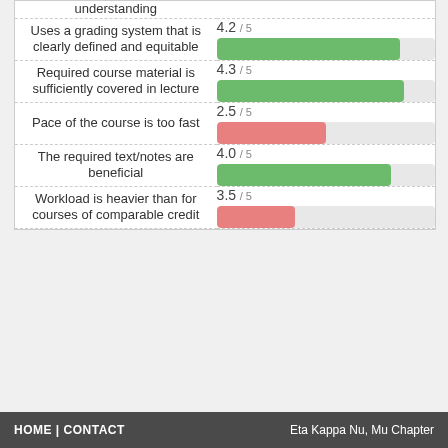[Figure (bar-chart): Course Ratings]
HOME | CONTACT   Eta Kappa Nu, Mu Chapter